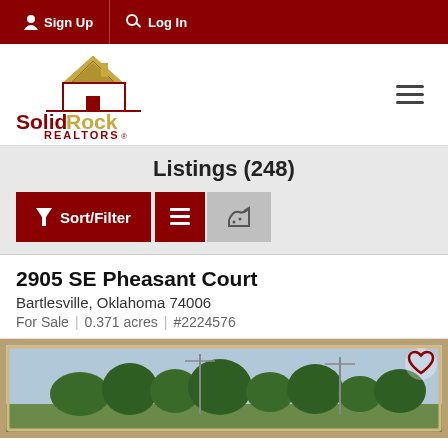Sign Up | Log In
[Figure (logo): Solid Rock Realtors logo with house roofline graphic in gold and dark red]
Listings (248)
Sort/Filter
2905 SE Pheasant Court
Bartlesville, Oklahoma 74006
For Sale | 0.371 acres | #2224576
[Figure (photo): Framed photograph of a lot with trees and poles in Bartlesville Oklahoma, with a heart/favorite icon in upper right corner]